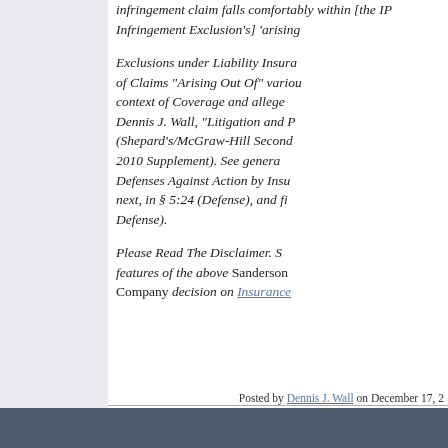infringement claim falls comfortably within [the IP Infringement Exclusion's] 'arising out of'...
Exclusions under Liability Insurance, Allocation of Claims "Arising Out Of" various perils, in the context of Coverage and alleged Coverage, by Dennis J. Wall, "Litigation and Prevention of Insurer Bad Faith" (Shepard's/McGraw-Hill Second Edition 1994, 2010 Supplement). See generally, Pleading Defenses Against Action by Insured, discussed next, in § 5:24 (Defense), and finally, § 5:25 (Defense).
Please Read The Disclaimer. See also other features of the above Sanderson... Company decision on Insurance...
Posted by Dennis J. Wall on December 17, 2...